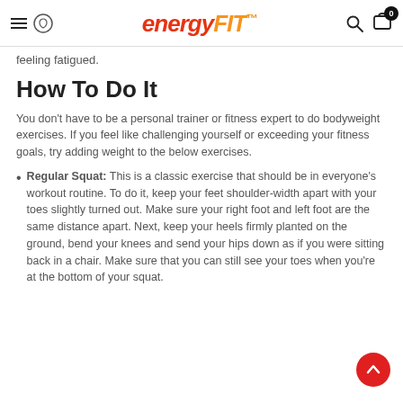energyfit
feeling fatigued.
How To Do It
You don't have to be a personal trainer or fitness expert to do bodyweight exercises. If you feel like challenging yourself or exceeding your fitness goals, try adding weight to the below exercises.
Regular Squat: This is a classic exercise that should be in everyone's workout routine. To do it, keep your feet shoulder-width apart with your toes slightly turned out. Make sure your right foot and left foot are the same distance apart. Next, keep your heels firmly planted on the ground, bend your knees and send your hips down as if you were sitting back in a chair. Make sure that you can still see your toes when you're at the bottom of your squat.